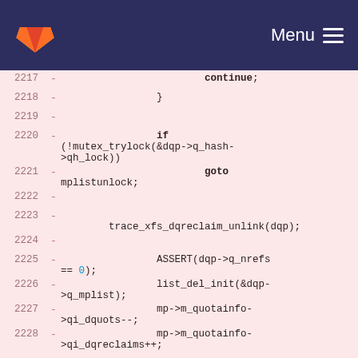[Figure (screenshot): GitLab navigation bar with logo and Menu icon on dark navy background]
2217  -  continue;
2218  -  }
2219  -
2220  -  if (!mutex_trylock(&dqp->q_hash->qh_lock))
2221  -  goto mplistunlock;
2222  -
2223  -  trace_xfs_dqreclaim_unlink(dqp);
2224  -
2225  -  ASSERT(dqp->q_nrefs == 0);
2226  -  list_del_init(&dqp->q_mplist);
2227  -  mp->m_quotainfo->qi_dquots--;
2228  -  mp->m_quotainfo->qi_dqreclaims++;